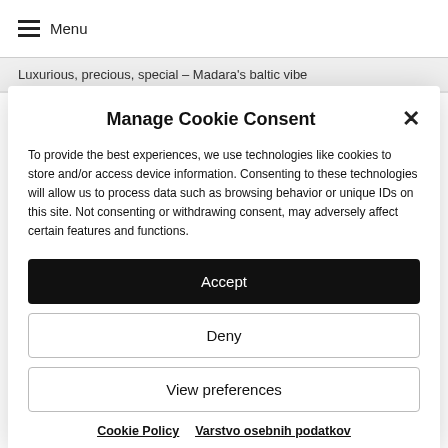Menu
Luxurious, precious, special – Madara's baltic vibe
Manage Cookie Consent
To provide the best experiences, we use technologies like cookies to store and/or access device information. Consenting to these technologies will allow us to process data such as browsing behavior or unique IDs on this site. Not consenting or withdrawing consent, may adversely affect certain features and functions.
Accept
Deny
View preferences
Cookie Policy   Varstvo osebnih podatkov